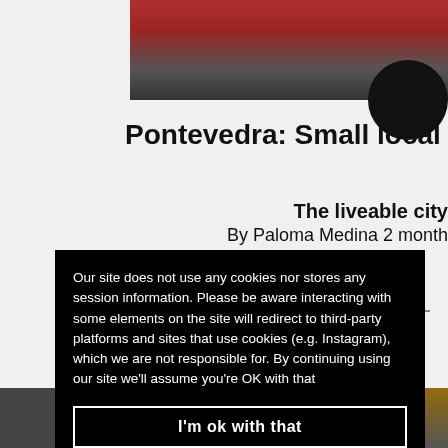[Figure (photo): Top banner photo showing a sports court with red floor surface and people]
Pontevedra: Small local businesses
The liveable city
By Paloma Medina 2 month
Our site does not use any cookies nor stores any session information. Please be aware interacting with some elements on the site will redirect to third-party platforms and sites that use cookies (e.g. Instagram), which we are not responsible for. By continuing using our site we'll assume you're OK with that
I'm ok with that
[Figure (photo): Bottom strip showing crowd of people and a church or cathedral building]